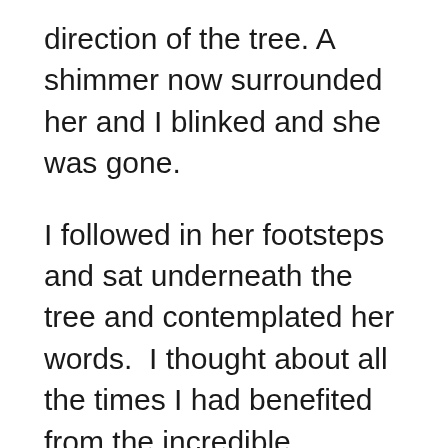direction of the tree. A shimmer now surrounded her and I blinked and she was gone.
I followed in her footsteps and sat underneath the tree and contemplated her words.  I thought about all the times I had benefited from the incredible kindness of strangers – crucial times in my life, times of great hardship and loss.  The kindness itself couldn't change